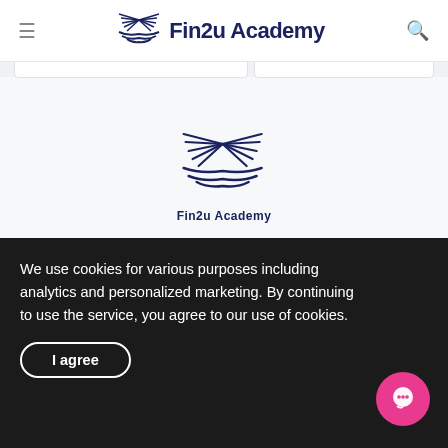≡  Fin2u Academy  🔍
[Figure (logo): Fin2u Academy logo with open book icon and text 'Fin2u Academy' centered on the page]
© 2022 - Fin2u Academy
Ebooks   Courses   Mentors   Support
We use cookies for various purposes including analytics and personalized marketing. By continuing to use the service, you agree to our use of cookies.
I agree